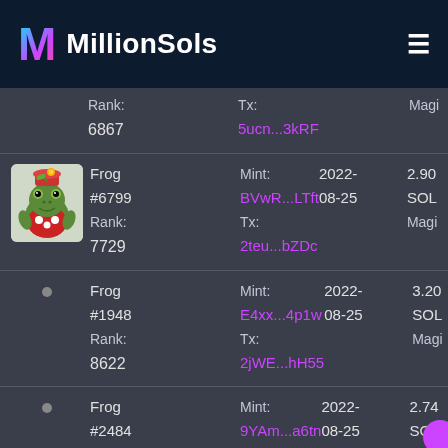MillionSols
| Name/Rank | Mint/Tx | Date | Price |
| --- | --- | --- | --- |
| Rank: 6867 | Tx: 5ucn…3kRF |  | Magi |
| Frog #6799 Rank: 7729 | Mint: BVwR…LTft Tx: 2teu…bZDc | 2022-08-25 | 2.90 SOL Magi |
| Frog #1948 Rank: 8622 | Mint: E4xx…4p1w Tx: 2jWE…hH55 | 2022-08-25 | 3.20 SOL Magi |
| Frog #2484 Rank: | Mint: 9YAm…a6tn Tx: | 2022-08-25 | 2.74 SOL Magi |